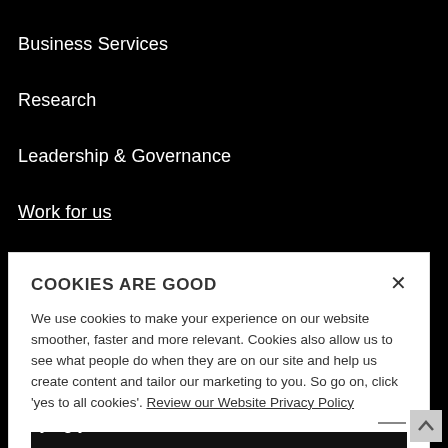Business Services
Research
Leadership & Governance
Work for us
COOKIES ARE GOOD
We use cookies to make your experience on our website smoother, faster and more relevant. Cookies also allow us to see what people do when they are on our site and help us create content and tailor our marketing to you. So go on, click 'yes to all cookies'. Review our Website Privacy Policy
Yes to all cookies
Let me choose
Paying your Fees